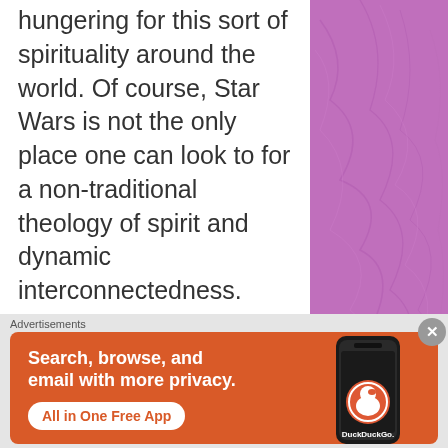hungering for this sort of spirituality around the world. Of course, Star Wars is not the only place one can look to for a non-traditional theology of spirit and dynamic interconnectedness. Unitarian Universalism has its own sage in the form of Ralph Waldo Emerson.

Some of the concepts found in George Lucas's fantasy...
[Figure (screenshot): DuckDuckGo advertisement banner with orange background showing text 'Search, browse, and email with more privacy. All in One Free App' and a DuckDuckGo duck logo on a phone mockup]